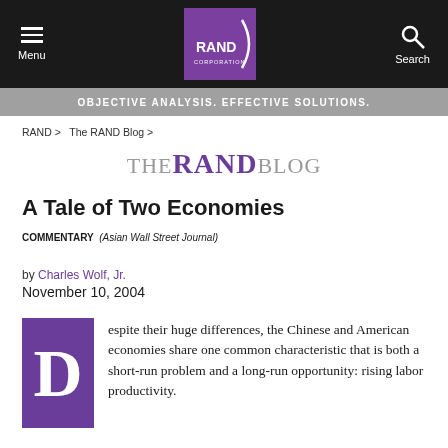Menu | RAND Corporation | Search
OBJECTIVE ANALYSIS. EFFECTIVE SOLUTIONS.
RAND > The RAND Blog >
THE RAND BLOG
A Tale of Two Economies
COMMENTARY (Asian Wall Street Journal)
by Charles Wolf, Jr.
November 10, 2004
Despite their huge differences, the Chinese and American economies share one common characteristic that is both a short-run problem and a long-run opportunity: rising labor productivity.